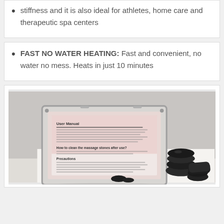stiffness and it is also ideal for athletes, home care and therapeutic spa centers
FAST NO WATER HEATING: Fast and convenient, no water no mess. Heats in just 10 minutes
[Figure (photo): Product photo showing a hot stone massage kit in an aluminum case with a user manual visible inside, and several black basalt massage stones of various sizes arranged beside the case on a white surface]